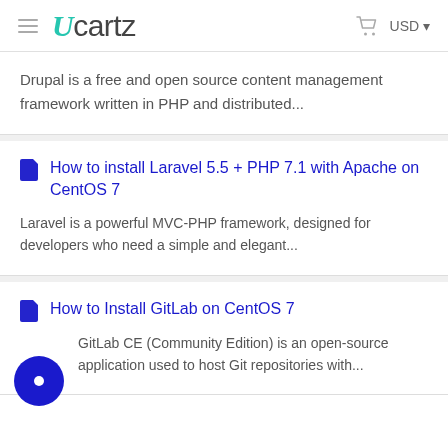Ucartz — USD
Drupal is a free and open source content management framework written in PHP and distributed...
How to install Laravel 5.5 + PHP 7.1 with Apache on CentOS 7
Laravel is a powerful MVC-PHP framework, designed for developers who need a simple and elegant...
How to Install GitLab on CentOS 7
GitLab CE (Community Edition) is an open-source application used to host Git repositories with...